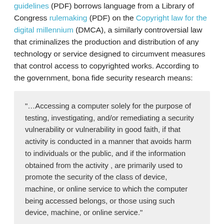guidelines (PDF) borrows language from a Library of Congress rulemaking (PDF) on the Copyright law for the digital millennium (DMCA), a similarly controversial law that criminalizes the production and distribution of any technology or service designed to circumvent measures that control access to copyrighted works. According to the government, bona fide security research means:
"…Accessing a computer solely for the purpose of testing, investigating, and/or remediating a security vulnerability or vulnerability in good faith, if that activity is conducted in a manner that avoids harm to individuals or the public, and if the information obtained from the activity , are primarily used to promote the security of the class of device, machine, or online service to which the computer being accessed belongs, or those using such device, machine, or online service."